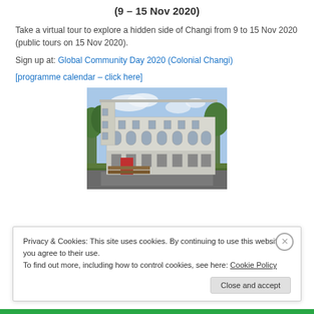(9 – 15 Nov 2020)
Take a virtual tour to explore a hidden side of Changi from 9 to 15 Nov 2020 (public tours on 15 Nov 2020).
Sign up at: Global Community Day 2020 (Colonial Changi)
[programme calendar – click here]
[Figure (photo): Photograph of a white colonial-era building with multiple floors, arched windows, surrounded by greenery and trees under a partly cloudy sky.]
Privacy & Cookies: This site uses cookies. By continuing to use this website, you agree to their use.
To find out more, including how to control cookies, see here: Cookie Policy